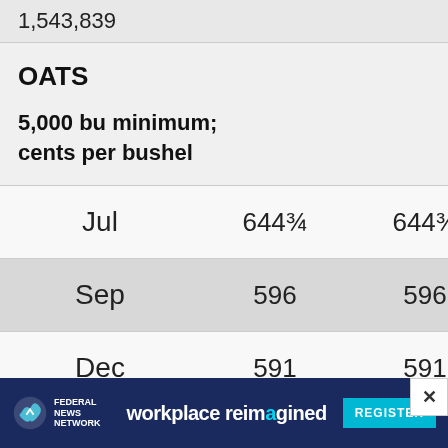|  | High | Low | Last |
| --- | --- | --- | --- |
|  | 1,543,839 |  |  |
| OATS
5,000 bu minimum; cents per bushel |  |  |  |
| Jul | 644¾ | 644¾ | 61… |
| Sep | 596 | 596 | 58… |
| Dec | 591 | 591 | 5… |
[Figure (other): Federal News Network advertisement banner: 'workplace reimagined' with REGISTER button and X close button]